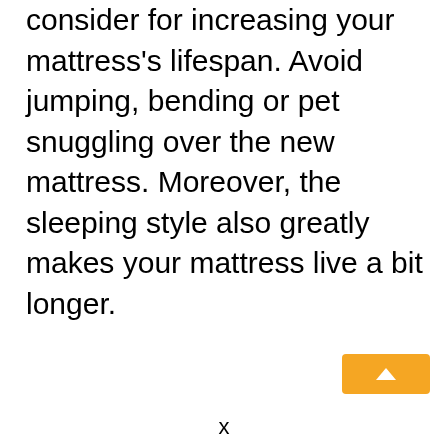consider for increasing your mattress's lifespan. Avoid jumping, bending or pet snuggling over the new mattress. Moreover, the sleeping style also greatly makes your mattress live a bit longer.
[Figure (other): Orange button with upward arrow icon, positioned bottom-right of page]